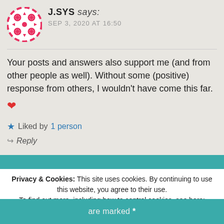[Figure (illustration): Circular avatar with pink/red star/snowflake geometric logo on light background]
J.SYS says:
SEP 3, 2020 AT 16:50
Your posts and answers also support me (and from other people as well). Without some (positive) response from others, I wouldn’t have come this far. ❤
★ Liked by 1 person
↪ Reply
Privacy & Cookies: This site uses cookies. By continuing to use this website, you agree to their use.
To find out more, including how to control cookies, see here: Cookie Policy
Close and accept
are marked *